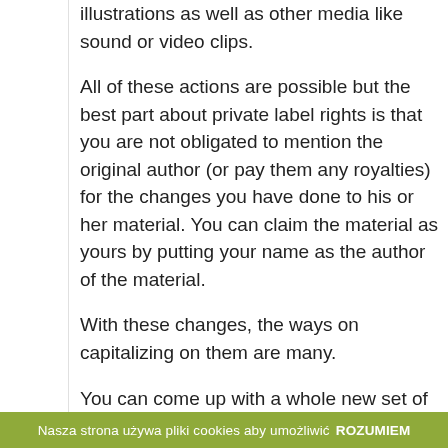illustrations as well as other media like sound or video clips.
All of these actions are possible but the best part about private label rights is that you are not obligated to mention the original author (or pay them any royalties) for the changes you have done to his or her material. You can claim the material as yours by putting your name as the author of the material.
With these changes, the ways on capitalizing on them are many.
You can come up with a whole new set of products from a single material source. Take an ebook for example. On one hand, you`ve broken up the book to sell them as articles. On the other, you`ve
Nasza strona używa pliki cookies aby umożliwić ROZUMIEM